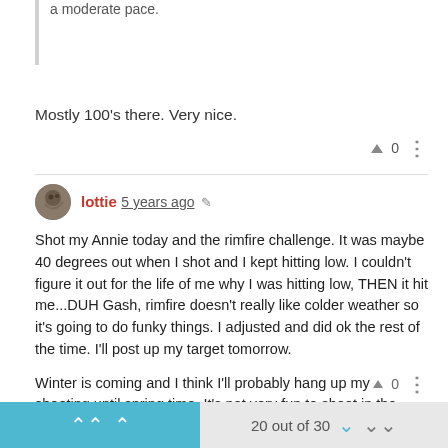a moderate pace.
Mostly 100's there. Very nice.
lottie 5 years ago
Shot my Annie today and the rimfire challenge. It was maybe 40 degrees out when I shot and I kept hitting low. I couldn't figure it out for the life of me why I was hitting low, THEN it hit me...DUH Gash, rimfire doesn't really like colder weather so it's going to do funky things. I adjusted and did ok the rest of the time. I'll post up my target tomorrow.

Winter is coming and I think I'll probably hang up my shooting until spring time. It's not very fun to shoot in the cold, nor is it fun to shoot with the wicked mirage that happens in the colder temps. We'll see though.
20 out of 30